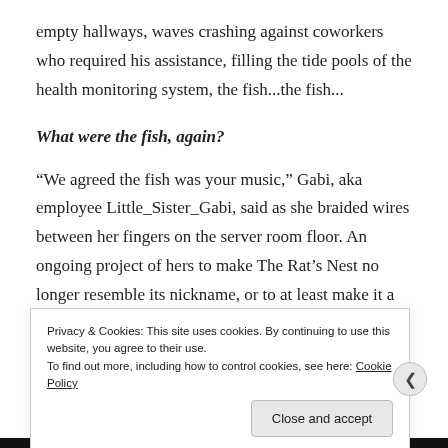empty hallways, waves crashing against coworkers who required his assistance, filling the tide pools of the health monitoring system, the fish...the fish...
What were the fish, again?
“We agreed the fish was your music,” Gabi, aka employee Little_Sister_Gabi, said as she braided wires between her fingers on the server room floor. An ongoing project of hers to make The Rat’s Nest no longer resemble its nickname, or to at least make it a nicer home for said rats.
Privacy & Cookies: This site uses cookies. By continuing to use this website, you agree to their use.
To find out more, including how to control cookies, see here: Cookie Policy
Close and accept